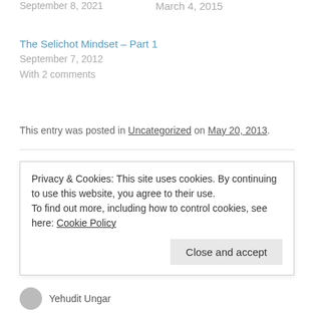September 8, 2021
March 4, 2015
The Selichot Mindset – Part 1
September 7, 2012
With 2 comments
This entry was posted in Uncategorized on May 20, 2013.
← Slavery and Freedom
The Paradox of Tisha B'av →
Privacy & Cookies: This site uses cookies. By continuing to use this website, you agree to their use.
To find out more, including how to control cookies, see here: Cookie Policy
Close and accept
Yehudit Ungar